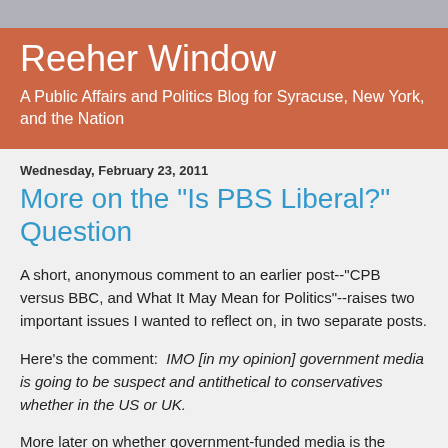Reeher Window
A Public Affairs and Politics Blog for Syracuse, New York, and the Nation
Wednesday, February 23, 2011
More on the "Is PBS Liberal?" Question
A short, anonymous comment to an earlier post--"CPB versus BBC, and What It May Mean for Politics"--raises two important issues I wanted to reflect on, in two separate posts.
Here's the comment:  IMO [in my opinion] government media is going to be suspect and antithetical to conservatives whether in the US or UK.
More later on whether government-funded media is the